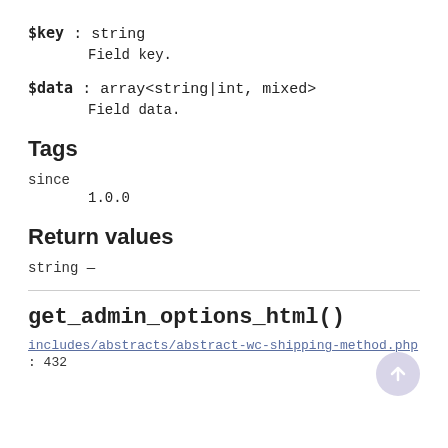$key : string
    Field key.
$data : array<string|int, mixed>
    Field data.
Tags
since
1.0.0
Return values
string —
get_admin_options_html()
includes/abstracts/abstract-wc-shipping-method.php : 432